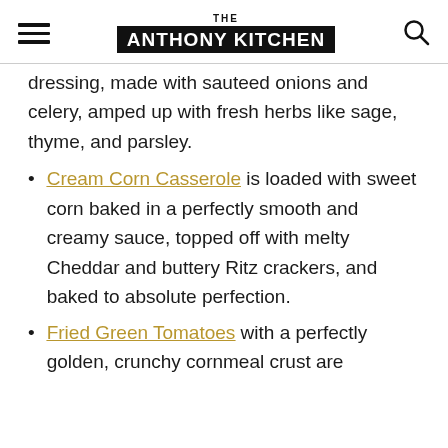THE ANTHONY KITCHEN
dressing, made with sauteed onions and celery, amped up with fresh herbs like sage, thyme, and parsley.
Cream Corn Casserole is loaded with sweet corn baked in a perfectly smooth and creamy sauce, topped off with melty Cheddar and buttery Ritz crackers, and baked to absolute perfection.
Fried Green Tomatoes with a perfectly golden, crunchy cornmeal crust are